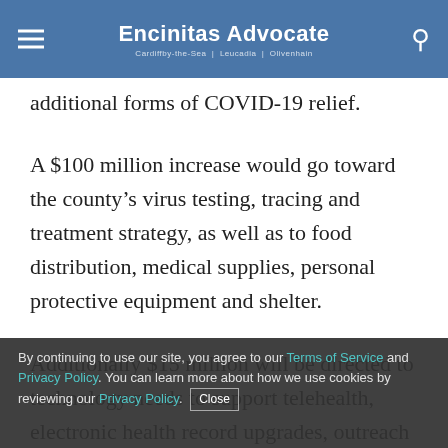Encinitas Advocate
additional forms of COVID-19 relief.
A $100 million increase would go toward the county’s virus testing, tracing and treatment strategy, as well as to food distribution, medical supplies, personal protective equipment and shelter.
Additionally $15 million will be directed to technology needs to support telehealth, electronic health record upgrades, outreach and engagement, workforce recruitment and retention.
By continuing to use our site, you agree to our Terms of Service and Privacy Policy. You can learn more about how we use cookies by reviewing our Privacy Policy. Close
and will also continue to invest